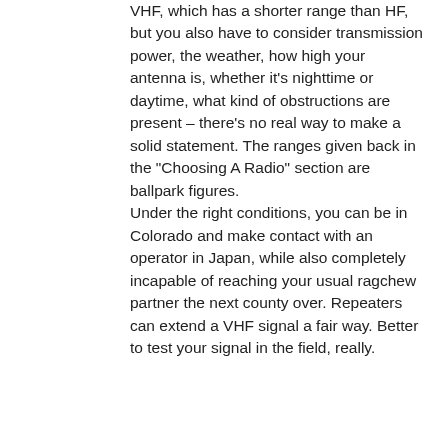VHF, which has a shorter range than HF, but you also have to consider transmission power, the weather, how high your antenna is, whether it's nighttime or daytime, what kind of obstructions are present – there's no real way to make a solid statement. The ranges given back in the "Choosing A Radio" section are ballpark figures.
Under the right conditions, you can be in Colorado and make contact with an operator in Japan, while also completely incapable of reaching your usual ragchew partner the next county over. Repeaters can extend a VHF signal a fair way. Better to test your signal in the field, really.